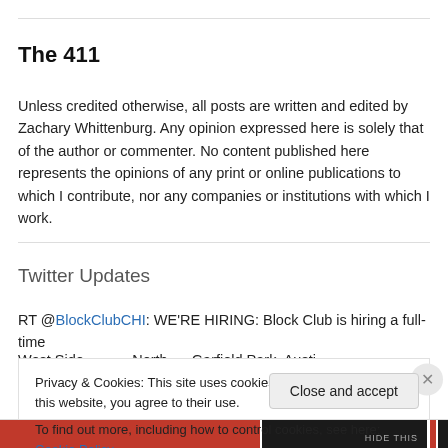The 411
Unless credited otherwise, all posts are written and edited by Zachary Whittenburg. Any opinion expressed here is solely that of the author or commenter. No content published here represents the opinions of any print or online publications to which I contribute, nor any companies or institutions with which I work.
Twitter Updates
RT @BlockClubCHI: WE'RE HIRING: Block Club is hiring a full-time West Side…
Privacy & Cookies: This site uses cookies. By continuing to use this website, you agree to their use.
To find out more, including how to control cookies, see here: Cookie Policy